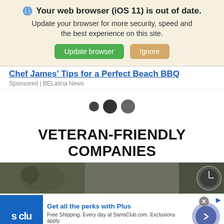[Figure (screenshot): Browser update notification banner with globe icon, bold heading 'Your web browser (iOS 11) is out of date.', subtitle text, and two buttons: green 'Update browser' and tan 'Ignore']
Chef James' Tips for a Perfect Beach BBQ
Sponsored | BELatina News
[Figure (other): Three dark loading dots in the center of the page]
VETERAN-FRIENDLY COMPANIES
[Figure (photo): Partial dark olive-toned hero image strip showing a person on the left and a clock/watch on the right]
[Figure (screenshot): Sam's Club advertisement banner: blue square logo with 's clu' text, headline 'Get all the perks with Plus', body text 'Free Shipping. Every day at SamsClub.com. Exclusions apply.', green URL 'www.samsclub.com', purple arrow button, close X button, and ad info icon]